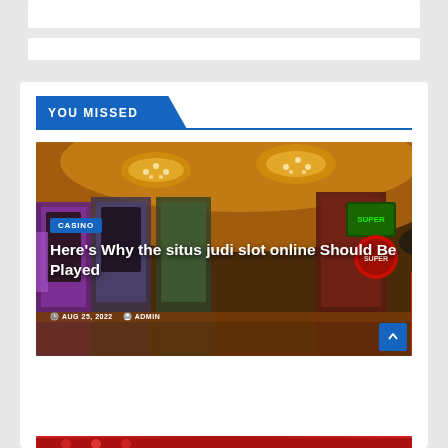YOU MISSED
[Figure (photo): Casino interior with slot machines, golden chandeliers, and colorful gaming equipment]
CASINO
Here's Why the situs judi slot online Should Be Played
AUG 25, 2022   ADMIN
[Figure (photo): Bottom partial image with red elements visible]